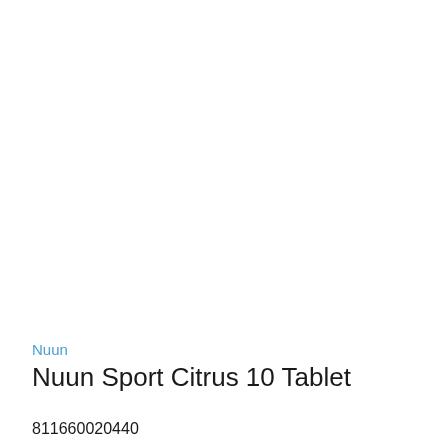Nuun
Nuun Sport Citrus 10 Tablet
811660020440